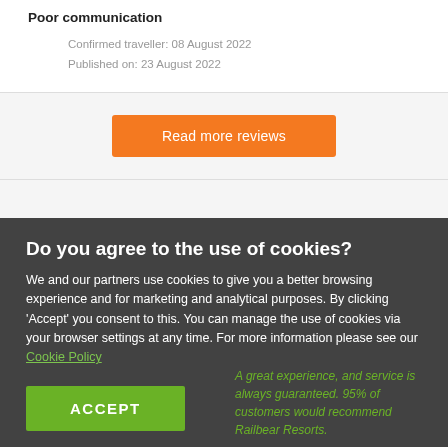Poor communication
Confirmed traveller: 08 August 2022
Published on: 23 August 2022
Read more reviews
Do you agree to the use of cookies?
We and our partners use cookies to give you a better browsing experience and for marketing and analytical purposes. By clicking 'Accept' you consent to this. You can manage the use of cookies via your browser settings at any time. For more information please see our Cookie Policy
ACCEPT